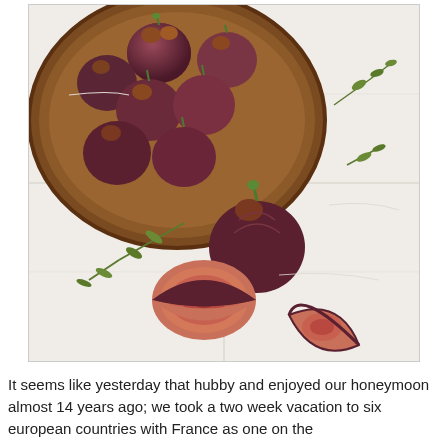[Figure (photo): Overhead photo of fresh figs on a white marble surface. A large wooden bowl in the upper portion holds several whole figs. To the right of the bowl, sprigs of fresh thyme are scattered. Below the bowl, one whole fig sits upright, and two fig halves cut open reveal their rosy-pink interior flesh. A quartered fig wedge sits nearby.]
It seems like yesterday that hubby and enjoyed our honeymoon almost 14 years ago; we took a two week vacation to six european countries with France as one on the